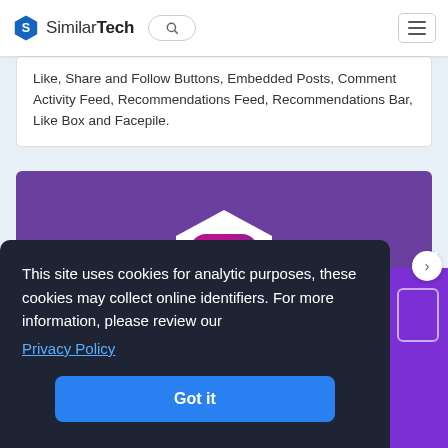SimilarTech
Like, Share and Follow Buttons, Embedded Posts, Comment Activity Feed, Recommendations Feed, Recommendations Bar, Like Box and Facepile.
[Figure (illustration): Purple banner with Instagram logo hexagon icon in center]
This site uses cookies for analytic purposes, these cookies may collect online identifiers. For more information, please review our Privacy Policy
Got it